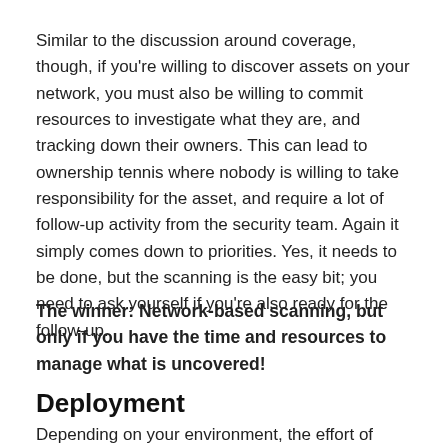Similar to the discussion around coverage, though, if you're willing to discover assets on your network, you must also be willing to commit resources to investigate what they are, and tracking down their owners. This can lead to ownership tennis where nobody is willing to take responsibility for the asset, and require a lot of follow-up activity from the security team. Again it simply comes down to priorities. Yes, it needs to be done, but the scanning is the easy bit; you need to ask yourself if you're also ready for the follow-up.
The winner: Network-based scanning, but only if you have the time and resources to manage what is uncovered!
Deployment
Depending on your environment, the effort of